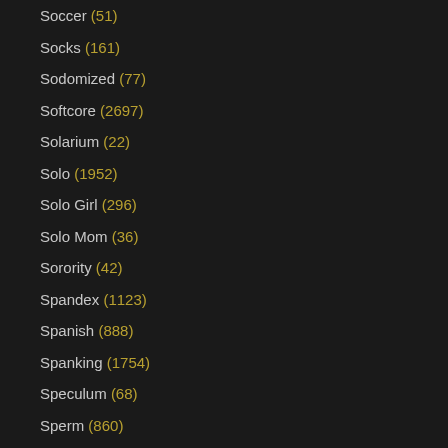Soccer (51)
Socks (161)
Sodomized (77)
Softcore (2697)
Solarium (22)
Solo (1952)
Solo Girl (296)
Solo Mom (36)
Sorority (42)
Spandex (1123)
Spanish (888)
Spanking (1754)
Speculum (68)
Sperm (860)
Spit (358)
Sport (485)